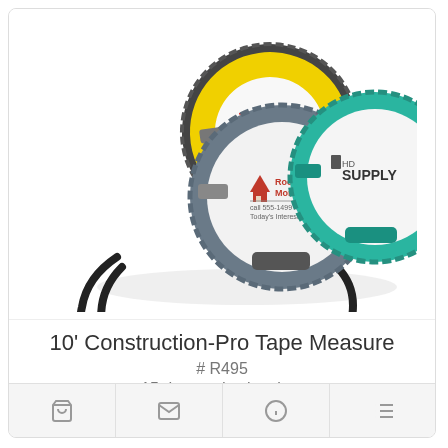[Figure (photo): Three promotional tape measures with custom branding: one yellow (T.H.E. logo), one gray/blue (Rocky Mountain Mortgage branding), and one teal/green (HD Supply branding), each with black wrist straps.]
10' Construction-Pro Tape Measure
# R495
15 day production time
$3.15 - $4.43 | Min. Qty: 150